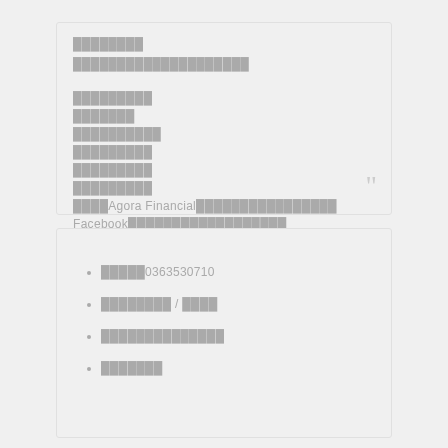████████
████████████████████
█████████
███████
██████████
█████████
█████████
█████████
████Agora Financial████████████████
Facebook██████████████████
█████0363530710
████████ / ████
██████████████
███████